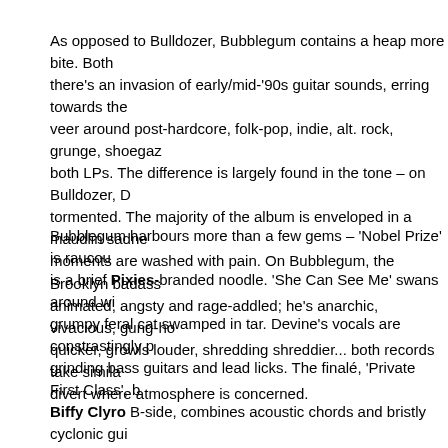As opposed to Bulldozer, Bubblegum contains a heap more bite. Both there's an invasion of early/mid-'90s guitar sounds, erring towards the veer around post-hardcore, folk-pop, indie, alt. rock, grunge, shoegaz both LPs. The difference is largely found in the tone – on Bulldozer, D tormented. The majority of the album is enveloped in a maudlin sadne moments are washed with pain. On Bubblegum, the Brooklyn badass animated, angsty and rage-addled; he's anarchic, vivacious, gung-ho quicker, growls louder, shredding shreddier... both records take simila divert where atmosphere is concerned.
Bubblegum harbours more than a few gems – 'Nobel Prize' is raucou is a brief Pixies-branded noodle. 'She Can See Me' swans around wi grumpy feral cat swamped in tar. Devine's vocals are constrastingly p grinding bass guitars and lead licks. The finalé, 'Private First Class', b Biffy Clyro B-side, combines acoustic chords and bristly cyclonic gui pound ceaselessly behind the pertinent words. The scene is set early standing in the courtroom/ pleading guilty, he shouldn't have to," and from there. Devine's misnomered Bubblegum (for there's a lack of sw the vitriol against the government and society. It's got an honest spirit traditional, rage-fuelled, 'change the world' way.